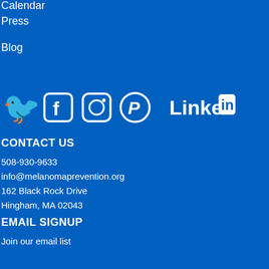Calendar
Press
Blog
[Figure (illustration): Social media icons: Twitter bird, Facebook F, Instagram camera, Pinterest P, and LinkedIn logo]
CONTACT US
508-930-9633
info@melanomaprevention.org
162 Black Rock Drive
Hingham, MA 02043
EMAIL SIGNUP
Join our email list